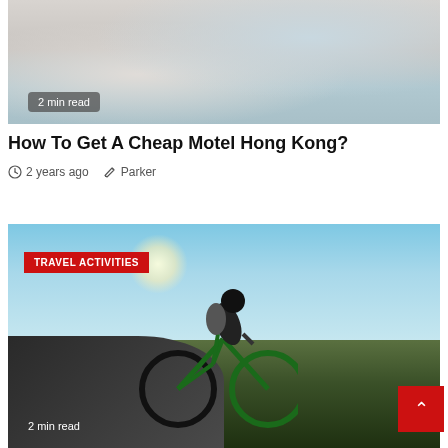[Figure (photo): Hotel room interior showing a bed with white pillows and a person sitting near a window with natural light]
2 min read
How To Get A Cheap Motel Hong Kong?
2 years ago  Parker
[Figure (photo): Mountain biker riding a green bicycle on rocky terrain with mountains and blue sky in background. Tag: TRAVEL ACTIVITIES]
2 min read